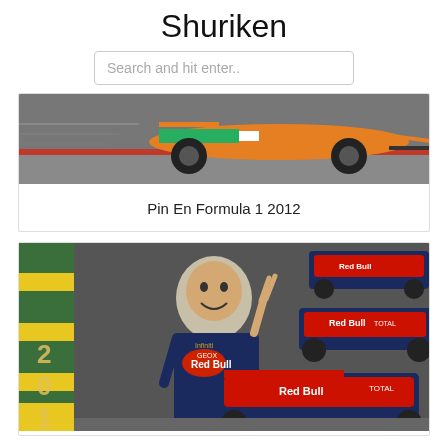Shuriken
Search and hit enter..
[Figure (photo): Formula 1 orange and green Force India car racing on track, viewed from low angle]
Pin En Formula 1 2012
[Figure (photo): Sebastian Vettel in Red Bull Racing suit giving peace sign, with Red Bull Formula 1 car and year '201' visible in background]